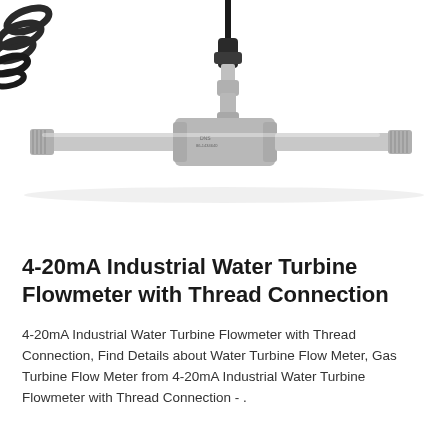[Figure (photo): Photograph of a 4-20mA Industrial Water Turbine Flowmeter with Thread Connection. The device shows a stainless steel inline flow meter with threaded male ends on both sides of a central T-shaped body. A vertical sensor/transmitter assembly with black cable attaches at the top center. A black coiled cable is visible at the upper left corner.]
4-20mA Industrial Water Turbine Flowmeter with Thread Connection
4-20mA Industrial Water Turbine Flowmeter with Thread Connection, Find Details about Water Turbine Flow Meter, Gas Turbine Flow Meter from 4-20mA Industrial Water Turbine Flowmeter with Thread Connection - .